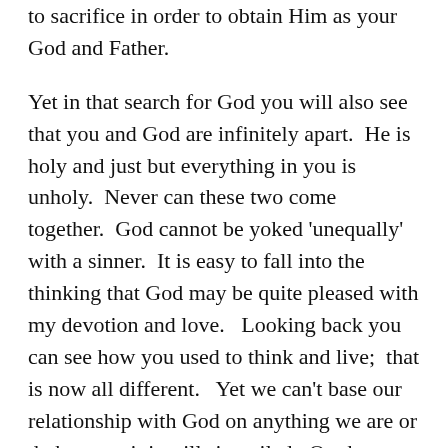to sacrifice in order to obtain Him as your God and Father.
Yet in that search for God you will also see that you and God are infinitely apart.  He is holy and just but everything in you is unholy.  Never can these two come together.  God cannot be yoked 'unequally' with a sinner.  It is easy to fall into the thinking that God may be quite pleased with my devotion and love.   Looking back you can see how you used to think and live;  that is now all different.   Yet we can't base our relationship with God on anything we are or do because it is still sin-soiled.  On that basis God can never have a relationship with us.  Only on the basis of perfect obedience and perfect love is reconciliation between God and us possible.   That discovery is so necessary and it is the Holy Spirit Who works this in a saving manner.